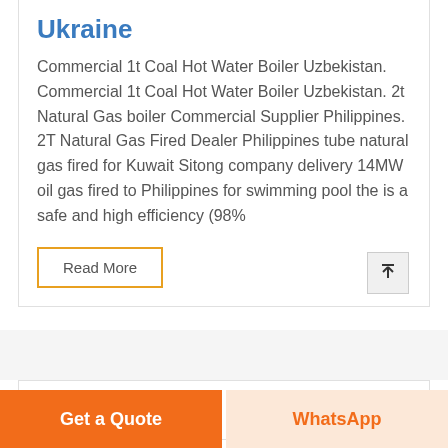Ukraine
Commercial 1t Coal Hot Water Boiler Uzbekistan. Commercial 1t Coal Hot Water Boiler Uzbekistan. 2t Natural Gas boiler Commercial Supplier Philippines. 2T Natural Gas Fired Dealer Philippines tube natural gas fired for Kuwait Sitong company delivery 14MW oil gas fired to Philippines for swimming pool the is a safe and high efficiency (98%
Read More
Get a Quote
WhatsApp